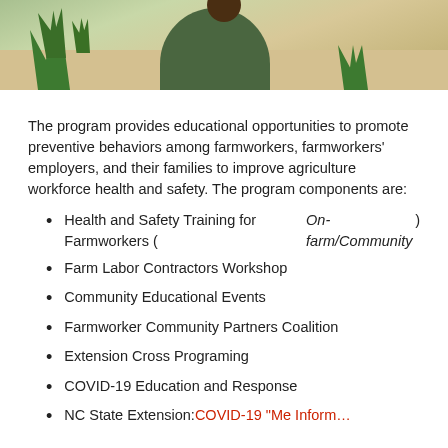[Figure (photo): Photo of a person in a green shirt viewed from behind, standing in a sandy field with grass, outdoor agricultural setting]
The program provides educational opportunities to promote preventive behaviors among farmworkers, farmworkers' employers, and their families to improve agriculture workforce health and safety. The program components are:
Health and Safety Training for Farmworkers (On-farm/Community)
Farm Labor Contractors Workshop
Community Educational Events
Farmworker Community Partners Coalition
Extension Cross Programing
COVID-19 Education and Response
NC State Extension: COVID-19 "Me Inform…